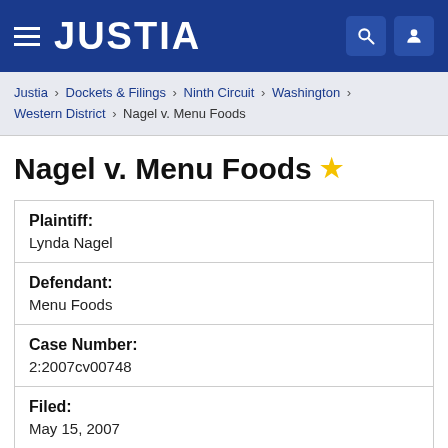JUSTIA
Justia › Dockets & Filings › Ninth Circuit › Washington › Western District › Nagel v. Menu Foods
Nagel v. Menu Foods ⭐
| Field | Value |
| --- | --- |
| Plaintiff: | Lynda Nagel |
| Defendant: | Menu Foods |
| Case Number: | 2:2007cv00748 |
| Filed: | May 15, 2007 |